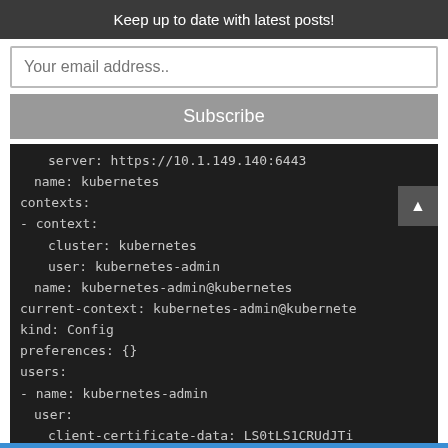Keep up to date with latest posts!
Your email address..
Subscribe
[Figure (screenshot): Terminal/code block showing kubeconfig YAML content: server: https://10.1.149.140:6443, name: kubernetes, contexts:, - context:, cluster: kubernetes, user: kubernetes-admin, name: kubernetes-admin@kubernetes, current-context: kubernetes-admin@kubernete, kind: Config, preferences: {}, users:, - name: kubernetes-admin, user:, client-certificate-data: LS0tLS1CRUdJTi, client-key-data: LS0tLS1CRUdJTiBSU0EgUF]
Change from v0 to v1 in the kubeconfig file from your
kubernetes master node